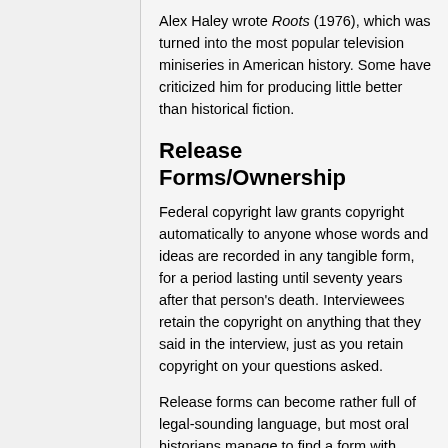Alex Haley wrote Roots (1976), which was turned into the most popular television miniseries in American history. Some have criticized him for producing little better than historical fiction.
Release Forms/Ownership
Federal copyright law grants copyright automatically to anyone whose words and ideas are recorded in any tangible form, for a period lasting until seventy years after that person's death. Interviewees retain the copyright on anything that they said in the interview, just as you retain copyright on your questions asked.
Release forms can become rather full of legal-sounding language, but most oral historians manage to find a form with which they are comfortable. Release forms make it clear to the interviewee, without question, how the interviews will be used, minimizing the chances for misunderstanding. In addition to offering some protection, release forms also remind the